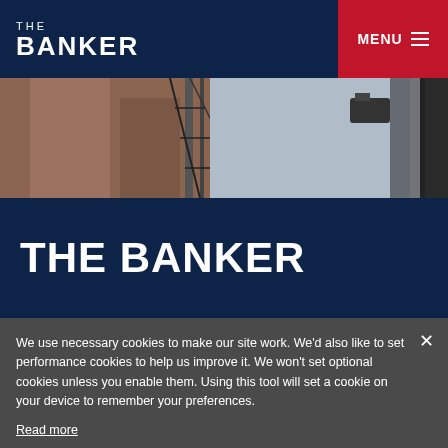THE BANKER
[Figure (photo): Exterior architectural photo showing brick building facade with fire escape ladders and sky visible]
THE BANKER
We use necessary cookies to make our site work. We'd also like to set performance cookies to help us improve it. We won't set optional cookies unless you enable them. Using this tool will set a cookie on your device to remember your preferences.
Read more
EDIT PREFERENCES
ACCEPT ALL
DECLINE ALL